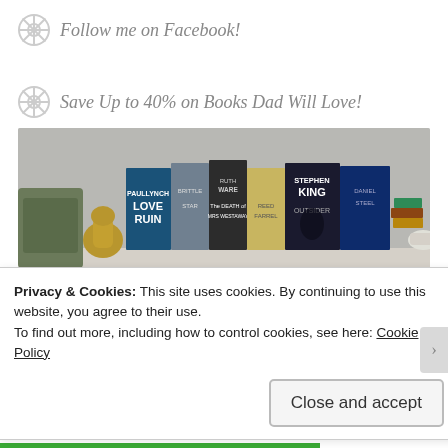Follow me on Facebook!
Save Up to 40% on Books Dad Will Love!
[Figure (photo): A shelf with several books including Love Ruin, The Death of Mrs Westaway by Ruth Ware, a yellow book, Outsider by Stephen King, and a dark blue book, along with decorative objects.]
Recent Posts
Privacy & Cookies: This site uses cookies. By continuing to use this website, you agree to their use.
To find out more, including how to control cookies, see here: Cookie Policy
Close and accept